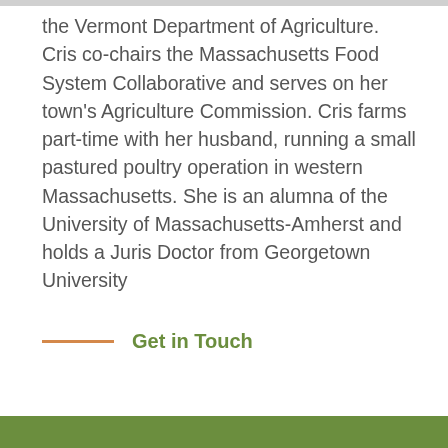the Vermont Department of Agriculture. Cris co-chairs the Massachusetts Food System Collaborative and serves on her town's Agriculture Commission. Cris farms part-time with her husband, running a small pastured poultry operation in western Massachusetts. She is an alumna of the University of Massachusetts-Amherst and holds a Juris Doctor from Georgetown University
Get in Touch